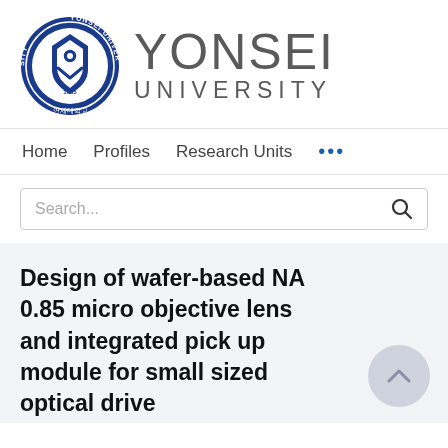[Figure (logo): Yonsei University logo: circular blue seal on the left with Korean text and 1885 date, and 'YONSEI UNIVERSITY' wordmark in gray to the right]
Home   Profiles   Research Units   ...
Search...
Design of wafer-based NA 0.85 micro objective lens and integrated pick up module for small sized optical drive